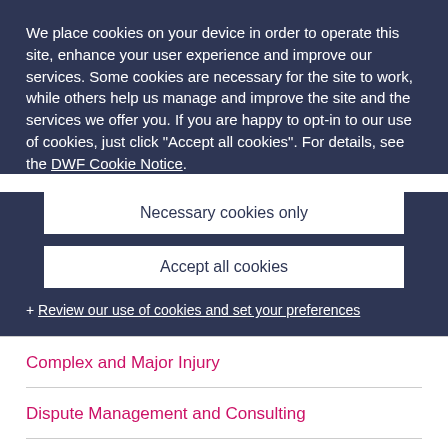We place cookies on your device in order to operate this site, enhance your user experience and improve our services. Some cookies are necessary for the site to work, while others help us manage and improve the site and the services we offer you. If you are happy to opt-in to our use of cookies, just click "Accept all cookies". For details, see the DWF Cookie Notice.
Necessary cookies only
Accept all cookies
+ Review our use of cookies and set your preferences
Complex and Major Injury
Dispute Management and Consulting
Real Estate